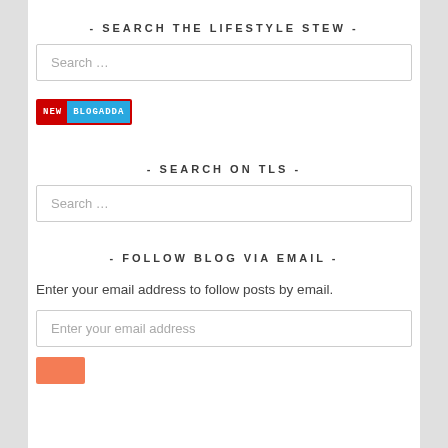- SEARCH THE LIFESTYLE STEW -
Search …
[Figure (logo): BlogAdda badge with NEW label in red and BLOGADDA in blue]
- SEARCH ON TLS -
Search …
- FOLLOW BLOG VIA EMAIL -
Enter your email address to follow posts by email.
Enter your email address